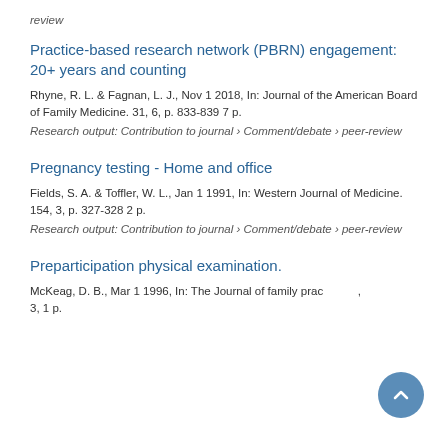review
Practice-based research network (PBRN) engagement: 20+ years and counting
Rhyne, R. L. & Fagnan, L. J., Nov 1 2018, In: Journal of the American Board of Family Medicine. 31, 6, p. 833-839 7 p.
Research output: Contribution to journal › Comment/debate › peer-review
Pregnancy testing - Home and office
Fields, S. A. & Toffler, W. L., Jan 1 1991, In: Western Journal of Medicine. 154, 3, p. 327-328 2 p.
Research output: Contribution to journal › Comment/debate › peer-review
Preparticipation physical examination.
McKeag, D. B., Mar 1 1996, In: The Journal of family practice. 3, 1 p.